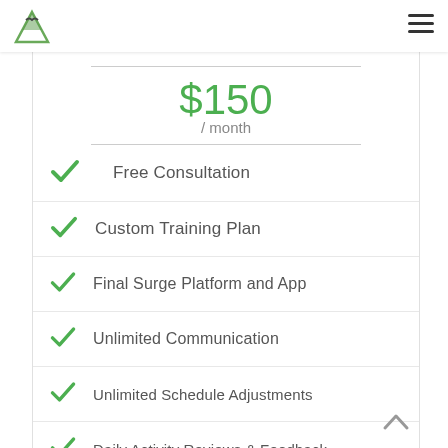[Figure (logo): Mountain peak logo with bird silhouette in green and grey]
$150 / month
Free Consultation
Custom Training Plan
Final Surge Platform and App
Unlimited Communication
Unlimited Schedule Adjustments
Daily Activity Reviews & Feedback